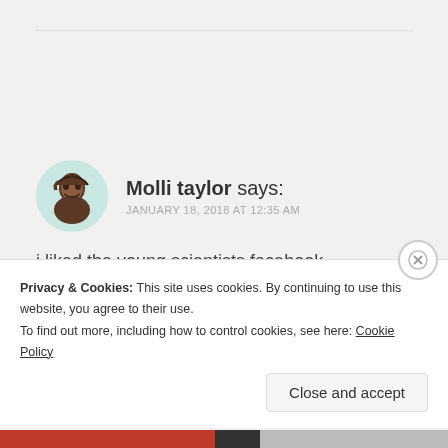Molli taylor says: JANUARY 18, 2018 AT 12:35 AM
i liked the young scientists facebook
★ Like
Privacy & Cookies: This site uses cookies. By continuing to use this website, you agree to their use.
To find out more, including how to control cookies, see here: Cookie Policy
Close and accept